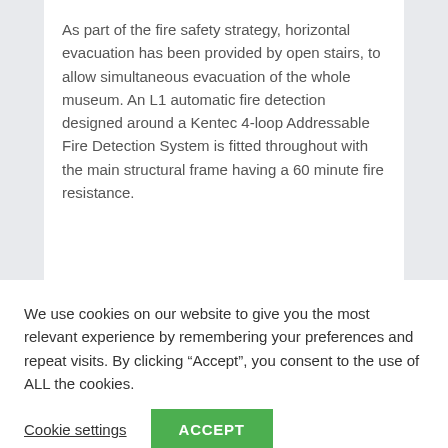As part of the fire safety strategy, horizontal evacuation has been provided by open stairs, to allow simultaneous evacuation of the whole museum. An L1 automatic fire detection designed around a Kentec 4-loop Addressable Fire Detection System is fitted throughout with the main structural frame having a 60 minute fire resistance.
We use cookies on our website to give you the most relevant experience by remembering your preferences and repeat visits. By clicking “Accept”, you consent to the use of ALL the cookies.
Cookie settings
ACCEPT